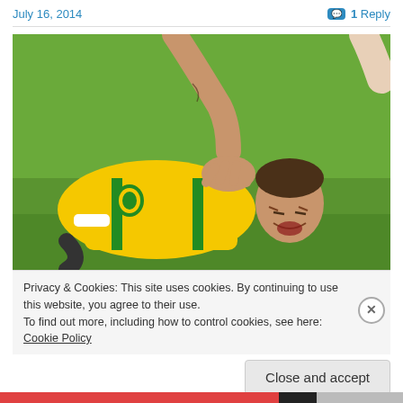July 16, 2014    1 Reply
[Figure (photo): Soccer player in yellow Brazil jersey lying on the ground in pain, with another person's hands on his back, on a green grass field.]
Privacy & Cookies: This site uses cookies. By continuing to use this website, you agree to their use.
To find out more, including how to control cookies, see here: Cookie Policy
Close and accept